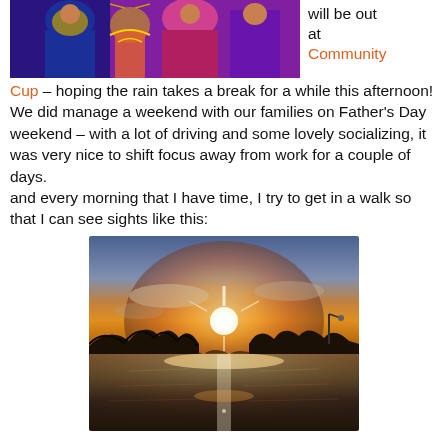[Figure (photo): Top portion of a photo showing people in colorful traditional/costume dress with blue, purple, pink, orange colors]
will be out at Community Cup – hoping the rain takes a break for a while this afternoon!
We did manage a weekend with our families on Father's Day weekend – with a lot of driving and some lovely socializing, it was very nice to shift focus away from work for a couple of days.
and every morning that I have time, I try to get in a walk so that I can see sights like this:
[Figure (photo): Sunset or sunrise over a calm body of water with trees silhouetted on the sides and bright light reflecting on the water surface]